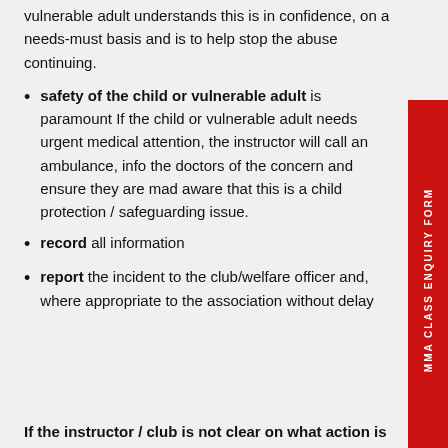vulnerable adult understands this is in confidence, on a needs-must basis and is to help stop the abuse continuing.
safety of the child or vulnerable adult is paramount If the child or vulnerable adult needs urgent medical attention, the instructor will call an ambulance, inform the doctors of the concern and ensure they are made aware that this is a child protection / safeguarding issue.
record all information
report the incident to the club/welfare officer and, where appropriate to the association without delay
If the instructor / club is not clear on what action is